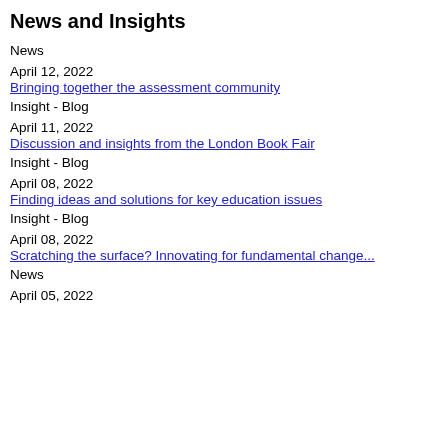News and Insights
News
April 12, 2022
Bringing together the assessment community
Insight - Blog
April 11, 2022
Discussion and insights from the London Book Fair
Insight - Blog
April 08, 2022
Finding ideas and solutions for key education issues
Insight - Blog
April 08, 2022
Scratching the surface? Innovating for fundamental change...
News
April 05, 2022